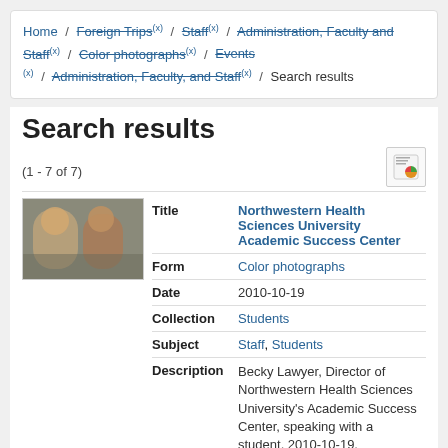Home / Foreign Trips (x) / Staff (x) / Administration, Faculty and Staff (x) / Color photographs (x) / Events (x) / Administration, Faculty, and Staff (x) / Search results
Search results
(1 - 7 of 7)
| Field | Value |
| --- | --- |
| Title | Northwestern Health Sciences University Academic Success Center |
| Form | Color photographs |
| Date | 2010-10-19 |
| Collection | Students |
| Subject | Staff, Students |
| Description | Becky Lawyer, Director of Northwestern Health Sciences University's Academic Success Center, speaking with a student, 2010-10-19. |